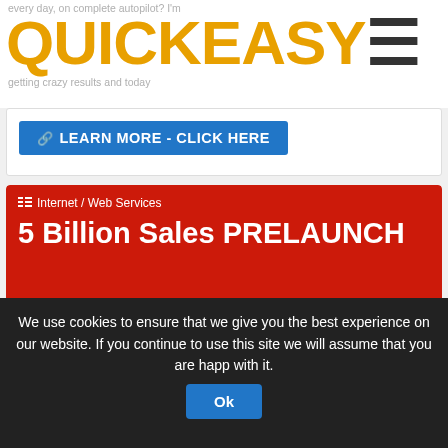every day, on complete autopilot? I'm getting crazy results and today
QUICKEASY
[Figure (screenshot): Learn More - Click Here blue button inside white card]
Internet / Web Services
5 Billion Sales PRELAUNCH
5 billion potential users - and you can get paid $100 for each. That is $500 Billion in commission just waiting to be claimed. Pre Launch - Miss It & You'll Miss Out!
[Figure (screenshot): Learn More - Click Here button with red outline inside red card]
Miscellaneous
We use cookies to ensure that we give you the best experience on our website. If you continue to use this site we will assume that you are happy with it.